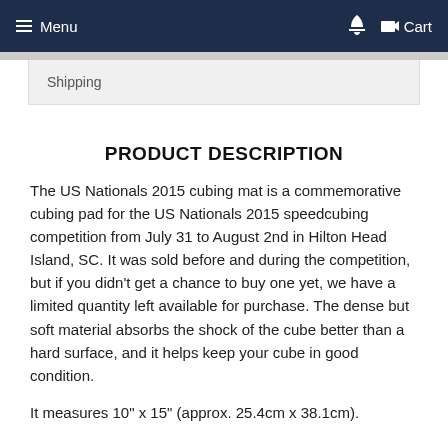Menu  Cart
Shipping
PRODUCT DESCRIPTION
The US Nationals 2015 cubing mat is a commemorative cubing pad for the US Nationals 2015 speedcubing competition from July 31 to August 2nd in Hilton Head Island, SC. It was sold before and during the competition, but if you didn't get a chance to buy one yet, we have a limited quantity left available for purchase. The dense but soft material absorbs the shock of the cube better than a hard surface, and it helps keep your cube in good condition.
It measures 10" x 15" (approx. 25.4cm x 38.1cm).